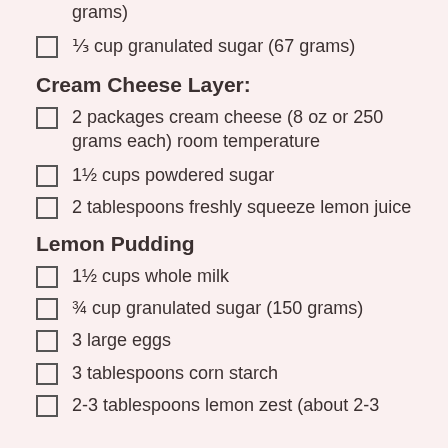grams)
⅓ cup granulated sugar (67 grams)
Cream Cheese Layer:
2 packages cream cheese (8 oz or 250 grams each) room temperature
1½ cups powdered sugar
2 tablespoons freshly squeeze lemon juice
Lemon Pudding
1½ cups whole milk
¾ cup granulated sugar (150 grams)
3 large eggs
3 tablespoons corn starch
2-3 tablespoons lemon zest (about 2-3